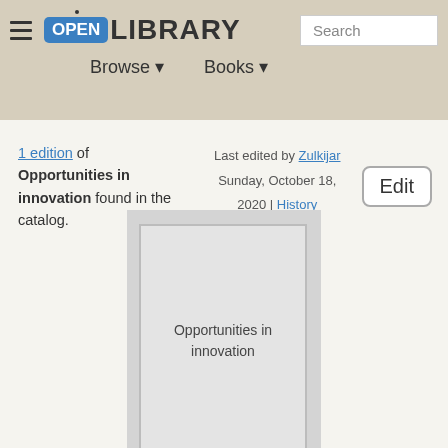OPEN LIBRARY | Search | Browse | Books
1 edition of Opportunities in innovation found in the catalog.
Last edited by Zulkijar
Sunday, October 18, 2020 | History
Edit
[Figure (illustration): Placeholder book cover for Opportunities in innovation, showing gray background with inner white-bordered rectangle and book title text centered.]